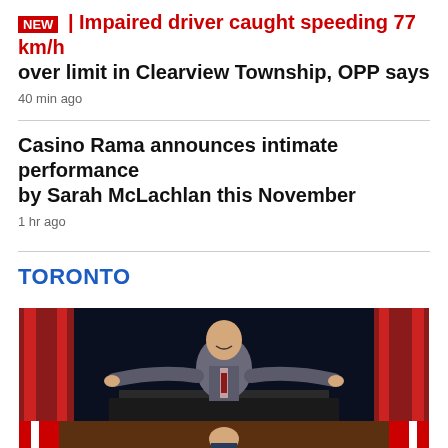NEW | Impaired driver caught speeding 77 km/h over limit in Clearview Township, OPP says
40 min ago
Casino Rama announces intimate performance by Sarah McLachlan this November
1 hr ago
TORONTO
[Figure (photo): Man in grey suit with arms spread wide, seated at a desk with American flags in the background]
[Figure (photo): Man at a podium or desk with Canadian flags in the background, partial view]